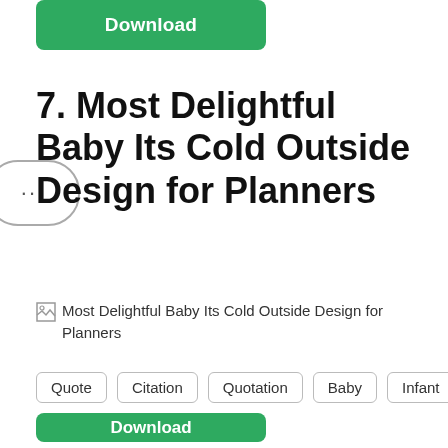[Figure (other): Green Download button at top]
7. Most Delightful Baby Its Cold Outside Design for Planners
[Figure (other): Broken image placeholder with alt text: Most Delightful Baby Its Cold Outside Design for Planners]
Quote
Citation
Quotation
Baby
Infant
[Figure (other): Green Download button at bottom]